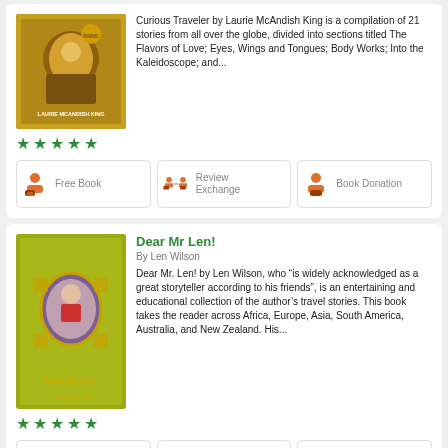[Figure (illustration): Book cover for Curious Traveler by Laurie McAndish King - gold/brown tones with figure]
Curious Traveler by Laurie McAndish King is a compilation of 21 stories from all over the globe, divided into sections titled The Flavors of Love; Eyes, Wings and Tongues; Body Works; Into the Kaleidoscope; and...
[Figure (illustration): Five green star rating]
[Figure (illustration): Free Book button icon]
[Figure (illustration): Review Exchange button icon]
[Figure (illustration): Book Donation button icon]
Dear Mr Len!
By Len Wilson
[Figure (illustration): Book cover for Dear Mr Len! by Len Wilson - gold/green background with illustrated character in oval frame]
Dear Mr. Len! by Len Wilson, who “is widely acknowledged as a great storyteller according to his friends”, is an entertaining and educational collection of the author’s travel stories. This book takes the reader across Africa, Europe, Asia, South America, Australia, and New Zealand. His...
[Figure (illustration): Five green star rating]
[Figure (illustration): Free Book button icon]
[Figure (illustration): Review Exchange button icon]
[Figure (illustration): Book Donation button icon]
Out and Back